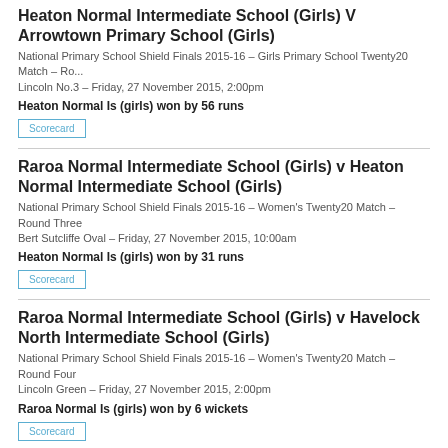Heaton Normal Intermediate School (Girls) V Arrowtown Primary School (Girls)
National Primary School Shield Finals 2015-16 – Girls Primary School Twenty20 Match – Ro...
Lincoln No.3  –  Friday, 27 November 2015, 2:00pm
Heaton Normal Is (girls) won by 56 runs
Scorecard
Raroa Normal Intermediate School (Girls) v Heaton Normal Intermediate School (Girls)
National Primary School Shield Finals 2015-16 – Women's Twenty20 Match – Round Three
Bert Sutcliffe Oval  –  Friday, 27 November 2015, 10:00am
Heaton Normal Is (girls) won by 31 runs
Scorecard
Raroa Normal Intermediate School (Girls) v Havelock North Intermediate School (Girls)
National Primary School Shield Finals 2015-16 – Women's Twenty20 Match – Round Four
Lincoln Green  –  Friday, 27 November 2015, 2:00pm
Raroa Normal Is (girls) won by 6 wickets
Scorecard